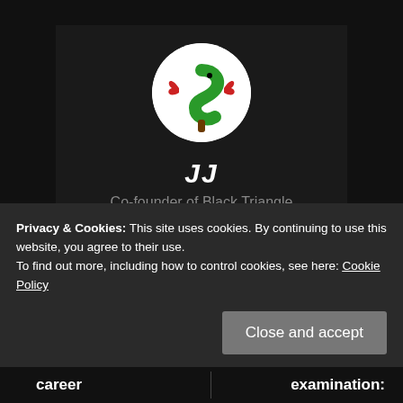[Figure (illustration): Circular avatar with white background showing a green cartoon snake/dollar sign character with red crab claws, on a dark background]
JJ
Co-founder of Black Triangle
View all posts by JJ
Privacy & Cookies: This site uses cookies. By continuing to use this website, you agree to their use.
To find out more, including how to control cookies, see here: Cookie Policy
Close and accept
career
examination: